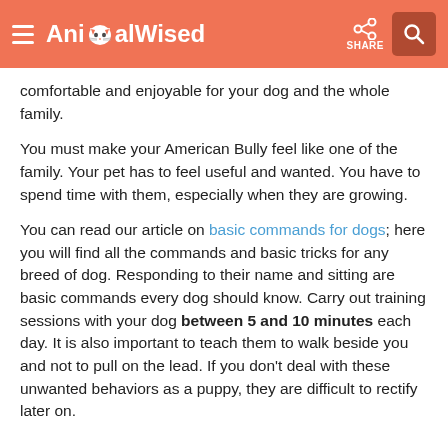AnimalWised — SHARE [search icon]
comfortable and enjoyable for your dog and the whole family.
You must make your American Bully feel like one of the family. Your pet has to feel useful and wanted. You have to spend time with them, especially when they are growing.
You can read our article on basic commands for dogs; here you will find all the commands and basic tricks for any breed of dog. Responding to their name and sitting are basic commands every dog should know. Carry out training sessions with your dog between 5 and 10 minutes each day. It is also important to teach them to walk beside you and not to pull on the lead. If you don't deal with these unwanted behaviors as a puppy, they are difficult to rectify later on.